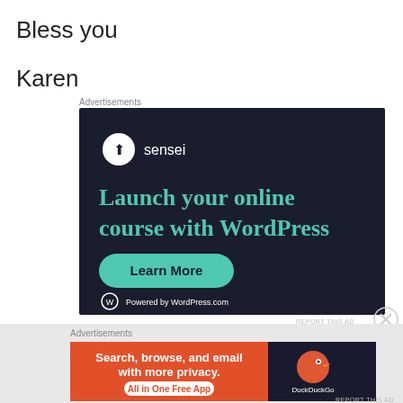Bless you
Karen
Advertisements
[Figure (other): Sensei advertisement: dark background with sensei logo, text 'Launch your online course with WordPress', green 'Learn More' button, 'Powered by WordPress.com' at bottom]
Advertisements
[Figure (other): DuckDuckGo advertisement: orange background with text 'Search, browse, and email with more privacy. All in One Free App', DuckDuckGo logo on right dark panel]